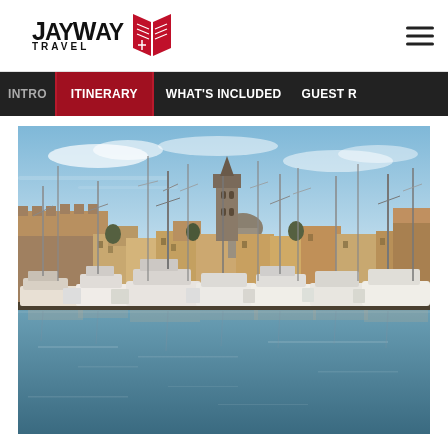JayWay Travel
INTRO | ITINERARY | WHAT'S INCLUDED | GUEST R
[Figure (photo): Harbor/marina scene with numerous sailboats and motorboats moored in calm water, with a historic Mediterranean town skyline featuring a church tower and old stone buildings in the background under a blue sky.]